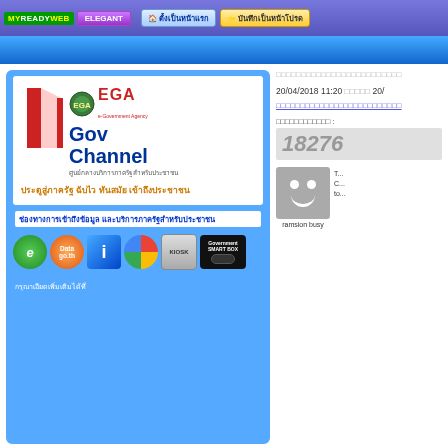MYREADYWEB ELEGANT | ตั้งเป็นหน้าแรก | บันทึกเป็นหน้าโปรด
[Figure (screenshot): Gov Channel banner with red door logo, EGA seal, and service icons for e-Gov, Data.go.th, info, G, Kiosk, Government Smart Box]
ช่องทางการเข้าถึงข้อมูล และบริการภาครัฐสำหรับประชาชน
กรุณาเอียดเพิ่มเติมได้ที่
20/04/2018 11:20 ถึงวัน 20/
ช่องทางการเข้าถึงข้อมูลและบริการภาครัฐสำหรับประชาชน (link)
จำนวนผู้เข้าชม :
18276
ramsion busy
T... C... to...